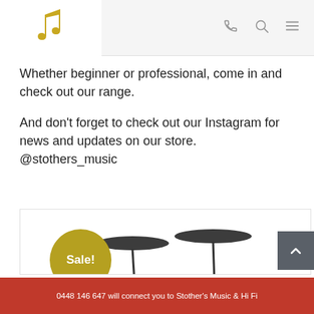Stother's Music store logo with navigation icons (phone, search, menu)
Whether beginner or professional, come in and check out our range.
And don't forget to check out our Instagram for news and updates on our store.
@stothers_music
[Figure (photo): Electronic drum kit with Sale! badge overlay on a white product card]
0448 146 647 will connect you to Stother's Music & Hi Fi